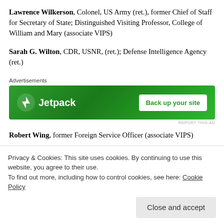Lawrence Wilkerson, Colonel, US Army (ret.), former Chief of Staff for Secretary of State; Distinguished Visiting Professor, College of William and Mary (associate VIPS)
Sarah G. Wilton, CDR, USNR, (ret.); Defense Intelligence Agency (ret.)
[Figure (other): Jetpack advertisement banner with green background showing Jetpack logo and 'Back up your site' button]
Robert Wing, former Foreign Service Officer (associate VIPS)
Ann Wright, Colonel, US Army (ret.); also Foreign Service
Privacy & Cookies: This site uses cookies. By continuing to use this website, you agree to their use. To find out more, including how to control cookies, see here: Cookie Policy
Close and accept